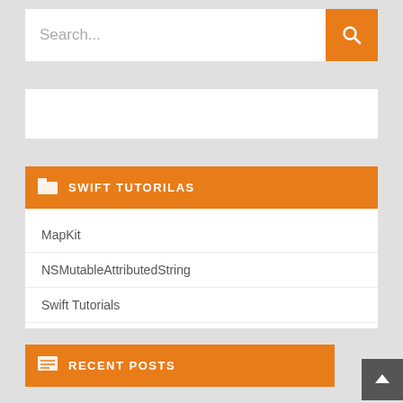[Figure (screenshot): Search bar with orange search button]
SWIFT TUTORILAS
MapKit
NSMutableAttributedString
Swift Tutorials
RECENT POSTS